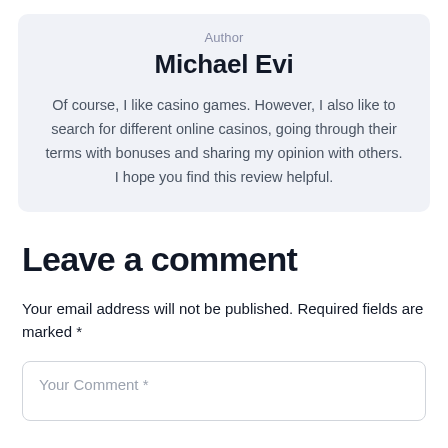Author
Michael Evi
Of course, I like casino games. However, I also like to search for different online casinos, going through their terms with bonuses and sharing my opinion with others. I hope you find this review helpful.
Leave a comment
Your email address will not be published. Required fields are marked *
Your Comment *